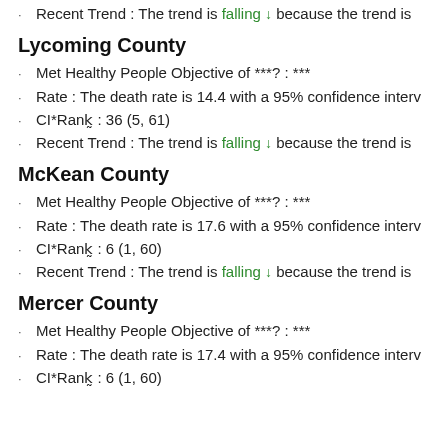Recent Trend : The trend is falling ↓ because the trend is
Lycoming County
Met Healthy People Objective of ***? : ***
Rate : The death rate is 14.4 with a 95% confidence interv
CI*Rank⋕ : 36 (5, 61)
Recent Trend : The trend is falling ↓ because the trend is
McKean County
Met Healthy People Objective of ***? : ***
Rate : The death rate is 17.6 with a 95% confidence interv
CI*Rank⋕ : 6 (1, 60)
Recent Trend : The trend is falling ↓ because the trend is
Mercer County
Met Healthy People Objective of ***? : ***
Rate : The death rate is 17.4 with a 95% confidence interv